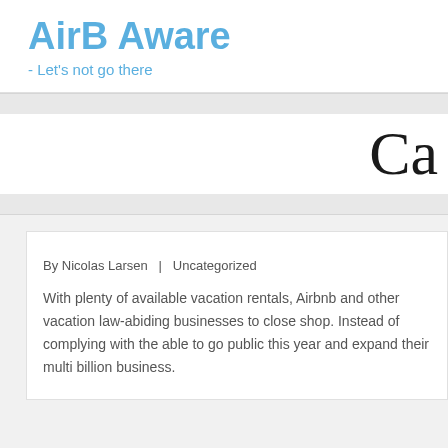AirB Aware
- Let's not go there
Ca
By Nicolas Larsen  |  Uncategorized
With plenty of available vacation rentals, Airbnb and other vacation law-abiding businesses to close shop. Instead of complying with the able to go public this year and expand their multi billion business.